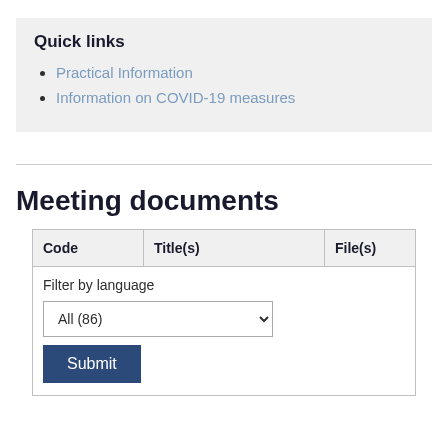Quick links
Practical Information
Information on COVID-19 measures
Meeting documents
| Code | Title(s) | File(s) |
| --- | --- | --- |
| Filter by language |  |  |